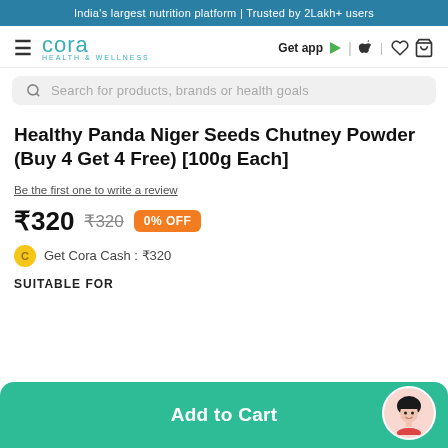India's largest nutrition platform | Trusted by 2Lakh+ users
[Figure (logo): Cora Health & Wellness logo with hamburger menu and navigation icons including Get app, Google Play, Apple, heart, and cart icons]
Search for products, brands or health goals
Healthy Panda Niger Seeds Chutney Powder (Buy 4 Get 4 Free) [100g Each]
Be the first one to write a review
₹320  ₹320  0% OFF
Get Cora Cash : ₹320
SUITABLE FOR
Add to Cart